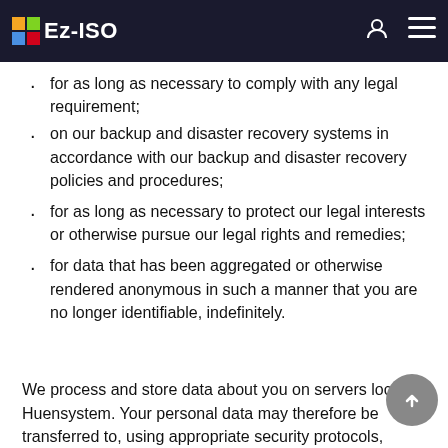Ez-ISO
account and/or request your information to be deleted, we our personal data:
for as long as necessary to comply with any legal requirement;
on our backup and disaster recovery systems in accordance with our backup and disaster recovery policies and procedures;
for as long as necessary to protect our legal interests or otherwise pursue our legal rights and remedies;
for data that has been aggregated or otherwise rendered anonymous in such a manner that you are no longer identifiable, indefinitely.
We process and store data about you on servers located Huensystem. Your personal data may therefore be transferred to, using appropriate security protocols,